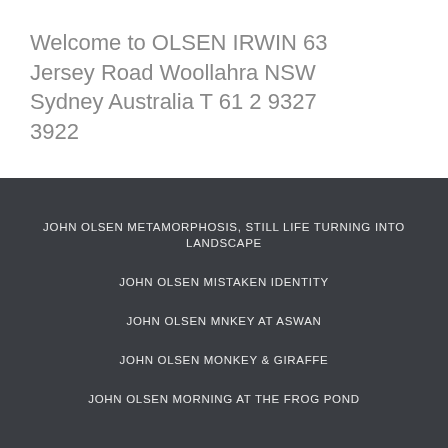Welcome to OLSEN IRWIN 63 Jersey Road Woollahra NSW Sydney Australia T 61 2 9327 3922
JOHN OLSEN METAMORPHOSIS, STILL LIFE TURNING INTO LANDSCAPE
JOHN OLSEN MISTAKEN IDENTITY
JOHN OLSEN MNKEY AT ASWAN
JOHN OLSEN MONKEY & GIRAFFE
JOHN OLSEN MORNING AT THE FROG POND